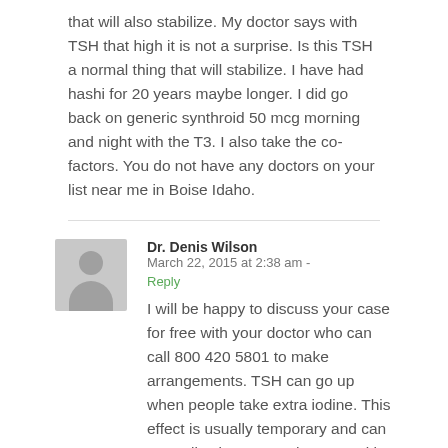that will also stabilize. My doctor says with TSH that high it is not a surprise. Is this TSH a normal thing that will stabilize. I have had hashi for 20 years maybe longer. I did go back on generic synthroid 50 mcg morning and night with the T3. I also take the co-factors. You do not have any doctors on your list near me in Boise Idaho.
Dr. Denis Wilson  March 22, 2015 at 2:38 am - Reply
I will be happy to discuss your case for free with your doctor who can call 800 420 5801 to make arrangements. TSH can go up when people take extra iodine. This effect is usually temporary and can normalize in 6-9 months even with the patient continuing to take iodine. High